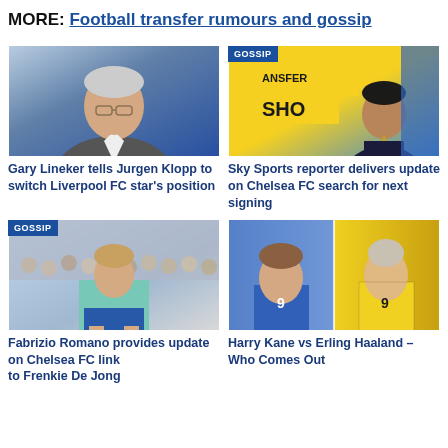MORE: Football transfer rumours and gossip
[Figure (photo): Gary Lineker seated, wearing glasses and a grey jacket, chin resting on hand, thoughtful expression, TV studio background]
Gary Lineker tells Jurgen Klopp to switch Liverpool FC star's position
[Figure (photo): Sky Sports reporter in a suit with yellow tie standing in front of a yellow TV studio backdrop with GOSSIP badge overlay and partial text TRANSFER SHOW]
Sky Sports reporter delivers update on Chelsea FC search for next signing
[Figure (photo): Football player in light blue/teal kit on pitch with crowd in background, GOSSIP badge overlay]
Fabrizio Romano provides update on Chelsea FC link to Frenkie De Jong
[Figure (photo): Split photo composite: Harry Kane in England blue kit on left, Erling Haaland in Borussia Dortmund yellow kit on right]
Harry Kane vs Erling Haaland – Who Comes Out On Top?